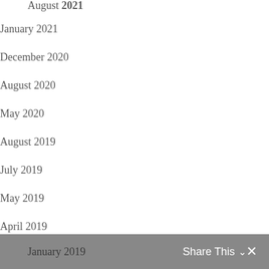August 2021
January 2021
December 2020
August 2020
May 2020
August 2019
July 2019
May 2019
April 2019
March 2019
February 2019
January 2019   Share This  ✕